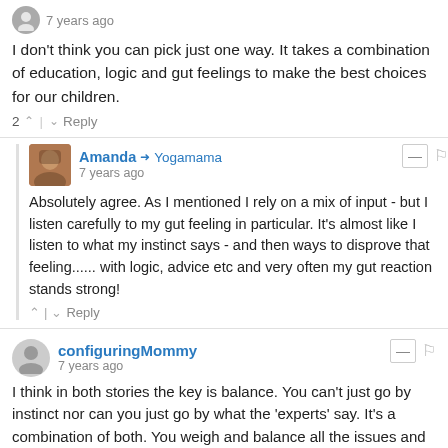7 years ago
I don't think you can pick just one way. It takes a combination of education, logic and gut feelings to make the best choices for our children.
2 ↑ | ↓ Reply
Amanda → Yogamama
7 years ago
Absolutely agree. As I mentioned I rely on a mix of input - but I listen carefully to my gut feeling in particular. It's almost like I listen to what my instinct says - and then ways to disprove that feeling...... with logic, advice etc and very often my gut reaction stands strong!
↑ | ↓ Reply
configuringMommy
7 years ago
I think in both stories the key is balance. You can't just go by instinct nor can you just go by what the 'experts' say. It's a combination of both. You weigh and balance all the issues and go with what you believe is best for your family.